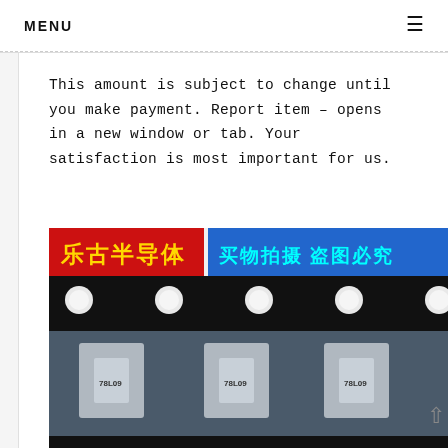MENU ≡
This amount is subject to change until you make payment. Report item – opens in a new window or tab. Your satisfaction is most important for us.
[Figure (photo): Photo of electronic semiconductor components (78L09 voltage regulators) on a tape reel, with red and black branding banner at top reading '乐古半导体' (Legu Semiconductor) in yellow text and '买物拍摄 盗图必究' in cyan text on blue background.]